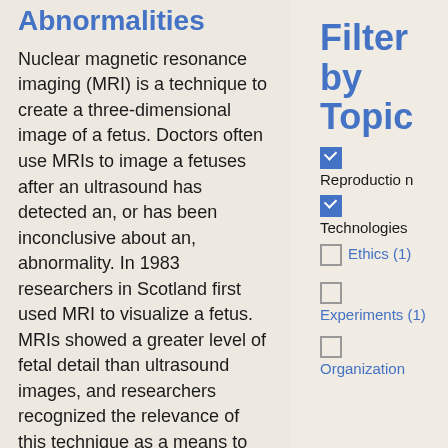Abnormalities
Nuclear magnetic resonance imaging (MRI) is a technique to create a three-dimensional image of a fetus. Doctors often use MRIs to image a fetuses after an ultrasound has detected an, or has been inconclusive about an, abnormality. In 1983 researchers in Scotland first used MRI to visualize a fetus. MRIs showed a greater level of fetal detail than ultrasound images, and researchers recognized the relevance of this technique as a means to gather information about fetal
Filter by Topic
Reproduction (checked)
Technologies (checked)
Ethics (1) (unchecked)
Experiments (1) (unchecked)
Organization (unchecked)